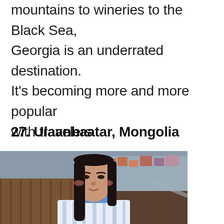mountains to wineries to the Black Sea, Georgia is an underrated destination. It's becoming more and more popular with travelers.
27. Ulaanbaatar, Mongolia
[Figure (photo): Portrait of a young Mongolian woman in traditional blue and white patterned clothing, with long dark hair, rosy cheeks, standing in front of a wooden fence with colorful houses on a hillside in the background in Ulaanbaatar, Mongolia.]